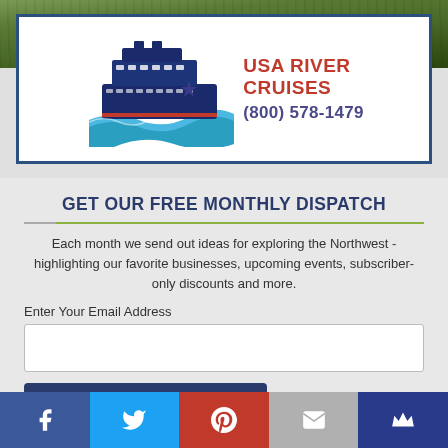[Figure (photo): Aerial photo of forested hillside with trees, partially visible at top of page]
[Figure (logo): USA River Cruises logo featuring a dark blue cruise ship with star, blue wave design, red text 'USA RIVER CRUISES' and purple phone number (800) 578-1479]
GET OUR FREE MONTHLY DISPATCH
Each month we send out ideas for exploring the Northwest - highlighting our favorite businesses, upcoming events, subscriber-only discounts and more.
Enter Your Email Address
Yes, Send Me the Dispatch!
[Figure (other): Social media share bar with Facebook, Twitter, Pinterest, Email, and Kingsuroyal icons]